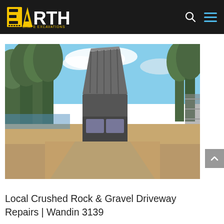Earth Shape Excavations
[Figure (photo): A dump truck with its tray raised, depositing crushed rock or gravel on a driveway path, surrounded by tall eucalyptus trees, blue sky with clouds, and a metal fence on the right side.]
Local Crushed Rock & Gravel Driveway Repairs | Wandin 3139